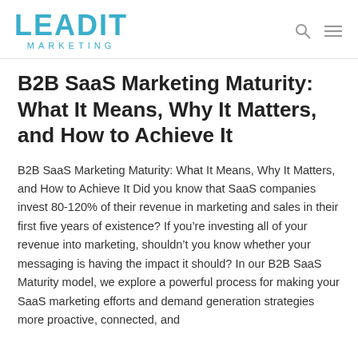LEADIT MARKETING
B2B SaaS Marketing Maturity: What It Means, Why It Matters, and How to Achieve It
B2B SaaS Marketing Maturity: What It Means, Why It Matters, and How to Achieve It Did you know that SaaS companies invest 80-120% of their revenue in marketing and sales in their first five years of existence? If you’re investing all of your revenue into marketing, shouldn’t you know whether your messaging is having the impact it should? In our B2B SaaS Maturity model, we explore a powerful process for making your SaaS marketing efforts and demand generation strategies more proactive, connected, and